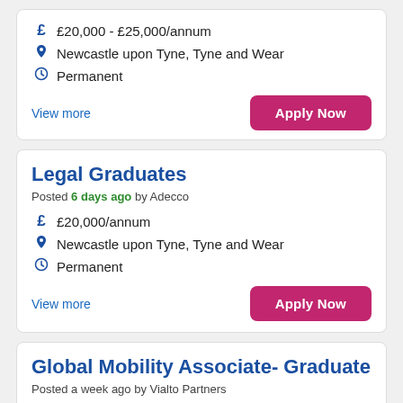£20,000 - £25,000/annum
Newcastle upon Tyne, Tyne and Wear
Permanent
View more
Apply Now
Legal Graduates
Posted 6 days ago by Adecco
£20,000/annum
Newcastle upon Tyne, Tyne and Wear
Permanent
View more
Apply Now
Global Mobility Associate- Graduate
Posted a week ago by Vialto Partners
£NEG